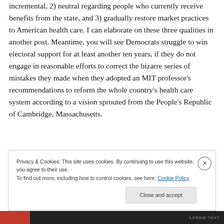incremental, 2) neutral regarding people who currently receive benefits from the state, and 3) gradually restore market practices to American health care. I can elaborate on these three qualities in another post. Meantime, you will see Democrats struggle to win electoral support for at least another ten years, if they do not engage in reasonable efforts to correct the bizarre series of mistakes they made when they adopted an MIT professor's recommendations to reform the whole country's health care system according to a vision sprouted from the People's Republic of Cambridge, Massachusetts.
Privacy & Cookies: This site uses cookies. By continuing to use this website, you agree to their use.
To find out more, including how to control cookies, see here: Cookie Policy